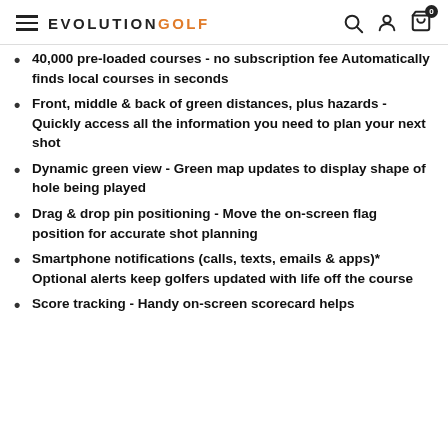EVOLUTIONGOLF
40,000 pre-loaded courses - no subscription fee Automatically finds local courses in seconds
Front, middle & back of green distances, plus hazards - Quickly access all the information you need to plan your next shot
Dynamic green view - Green map updates to display shape of hole being played
Drag & drop pin positioning - Move the on-screen flag position for accurate shot planning
Smartphone notifications (calls, texts, emails & apps)* Optional alerts keep golfers updated with life off the course
Score tracking - Handy on-screen scorecard helps